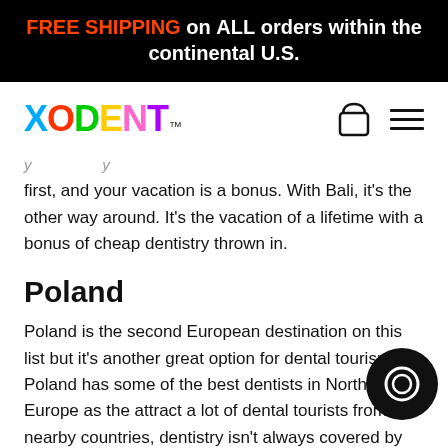FREE SHIPPING on ALL orders within the continental U.S.
[Figure (logo): XODENT colorful logo with shopping bag and hamburger menu icons]
first, and your vacation is a bonus. With Bali, it's the other way around. It's the vacation of a lifetime with a bonus of cheap dentistry thrown in.
Poland
Poland is the second European destination on this list but it's another great option for dental tourism. Poland has some of the best dentists in Northern Europe as the attract a lot of dental tourists from nearby countries, dentistry isn't always covered by state healthcare